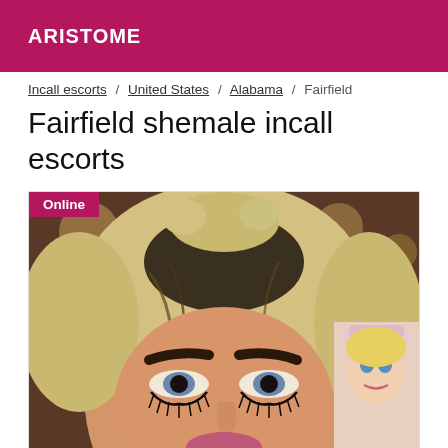ARISTOME
Incall escorts / United States / Alabama / Fairfield
Fairfield shemale incall escorts
[Figure (photo): Close-up selfie photo of a person with blonde hair and heavy eye makeup, with a Barbie doll visible in the background. An 'Online' badge appears in the top-left corner of the image.]